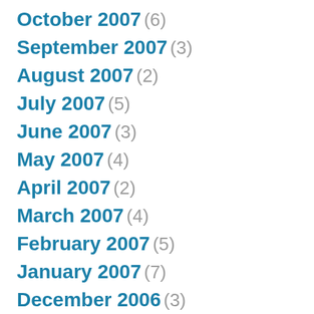October 2007 (6)
September 2007 (3)
August 2007 (2)
July 2007 (5)
June 2007 (3)
May 2007 (4)
April 2007 (2)
March 2007 (4)
February 2007 (5)
January 2007 (7)
December 2006 (3)